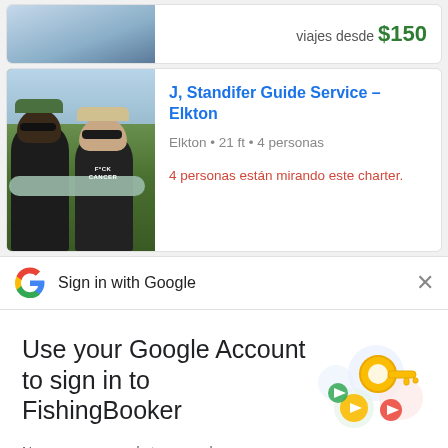[Figure (photo): Partial top listing card with photo and price text 'viajes desde $150']
viajes desde $150
[Figure (photo): Photo of two men holding a large fish outdoors]
J, Standifer Guide Service – Elkton
Elkton • 21 ft • 4 personas
4 personas están mirando este charter.
Sign in with Google
Use your Google Account to sign in to FishingBooker
No more passwords to remember. Signing in is fast, simple and secure.
[Figure (illustration): Google sign-in illustration with a golden key and colorful circles]
Continue
BELI A, TIJA UVE ME"...